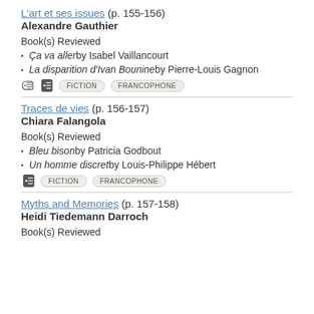L'art et ses issues (p. 155-156)
Alexandre Gauthier
Book(s) Reviewed
Ça va aller by Isabel Vaillancourt
La disparition d'Ivan Bounine by Pierre-Louis Gagnon
FICTION   FRANCOPHONE
Traces de vies (p. 156-157)
Chiara Falangola
Book(s) Reviewed
Bleu bison by Patricia Godbout
Un homme discret by Louis-Philippe Hébert
FICTION   FRANCOPHONE
Myths and Memories (p. 157-158)
Heidi Tiedemann Darroch
Book(s) Reviewed